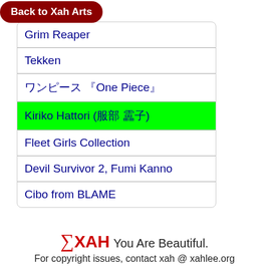Back to Xah Arts
Grim Reaper
Tekken
ワンピース 【One Piece】
Kiriko Hattori (服部 霧子)
Fleet Girls Collection 艦娘
Devil Survivor 2, Fumi Kanno
Cibo from BLAME
[Figure (logo): Xah Arts logo with sigma symbol and tagline 'You Are Beautiful.']
For copyright issues, contact xah @ xahlee.org